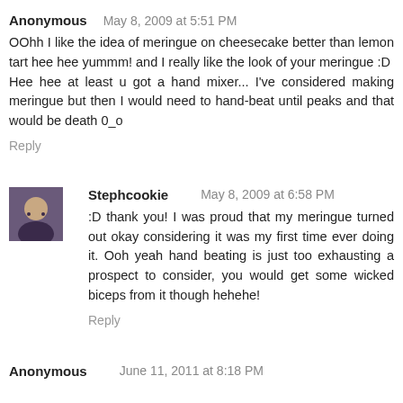Anonymous   May 8, 2009 at 5:51 PM
OOhh I like the idea of meringue on cheesecake better than lemon tart hee hee yummm! and I really like the look of your meringue :D
Hee hee at least u got a hand mixer... I've considered making meringue but then I would need to hand-beat until peaks and that would be death 0_o
Reply
Stephcookie   May 8, 2009 at 6:58 PM
:D thank you! I was proud that my meringue turned out okay considering it was my first time ever doing it. Ooh yeah hand beating is just too exhausting a prospect to consider, you would get some wicked biceps from it though hehehe!
Reply
Anonymous   June 11, 2011 at 8:18 PM